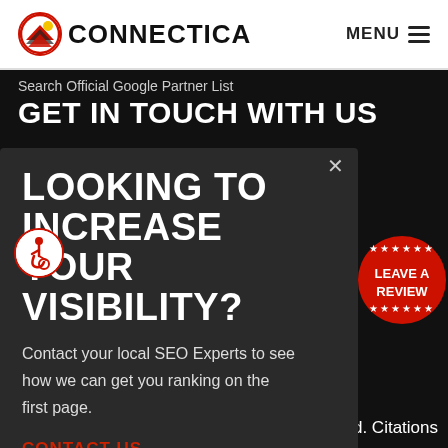CONNECTICA — MENU
Search Official Google Partner List
GET IN TOUCH WITH US
LOOKING TO INCREASE YOUR VISIBILITY?
Contact your local SEO Experts to see how we can get you ranking on the first page.
CONTACT US
[Figure (logo): Red circular badge with stars and text LEAVE A REVIEW]
d. Citations